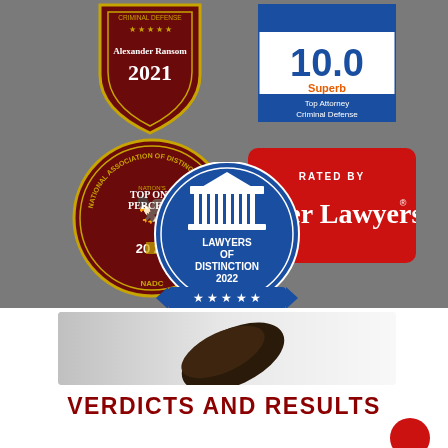[Figure (logo): Criminal Defense attorney award badge - Alexander Ransom 2021, shield shape in dark red/maroon with gold stars]
[Figure (logo): Avvo rating badge showing 10.0 Superb, Top Attorney Criminal Defense, blue and white design]
[Figure (logo): NADC National Association of Distinguished Counsel Top One Percent 2022, circular dark red badge with gold eagle]
[Figure (logo): Rated by Super Lawyers badge, red background with white text]
[Figure (logo): Lawyers of Distinction 2022 badge, blue circular design with columns and stars]
[Figure (photo): Gavel photo, partially visible, gray gradient background]
VERDICTS AND RESULTS